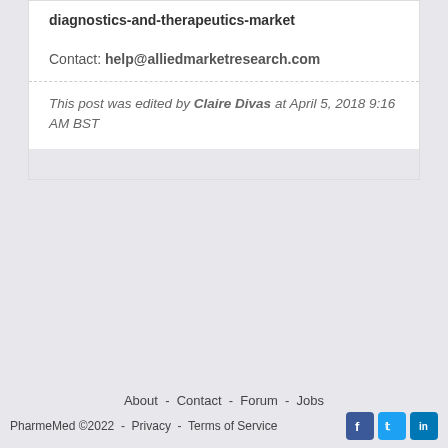diagnostics-and-therapeutics-market
Contact: help@alliedmarketresearch.com
This post was edited by Claire Divas at April 5, 2018 9:16 AM BST
About - Contact - Forum - Jobs
PharmeMed ©2022 - Privacy - Terms of Service